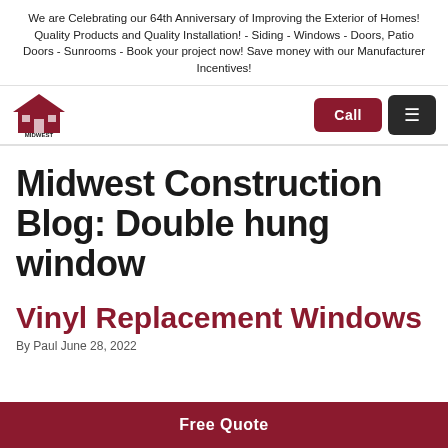We are Celebrating our 64th Anniversary of Improving the Exterior of Homes! Quality Products and Quality Installation! - Siding - Windows - Doors, Patio Doors - Sunrooms - Book your project now! Save money with our Manufacturer Incentives!
[Figure (logo): Midwest Construction logo — red house icon with company name text]
Midwest Construction Blog: Double hung window
Vinyl Replacement Windows
By Paul June 28, 2022
Free Quote